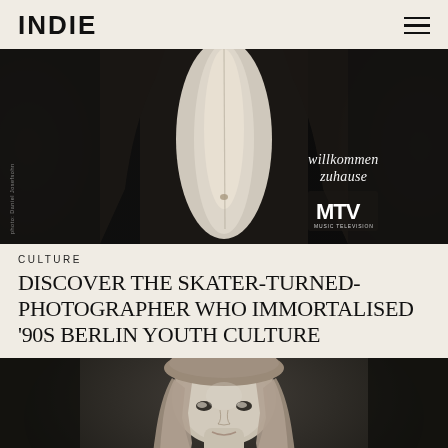INDIE
[Figure (photo): Black and white photograph showing a person's torso/abdomen, with text overlay reading 'willkommen zuhause' and MTV Music Television logo in bottom right. Small vertical text on left reads 'photo: Daniel Josefsohn'.]
CULTURE
DISCOVER THE SKATER-TURNED-PHOTOGRAPHER WHO IMMORTALISED '90S BERLIN YOUTH CULTURE
[Figure (photo): Black and white portrait photograph of a young woman with long hair, looking at the camera, cropped from shoulders up.]